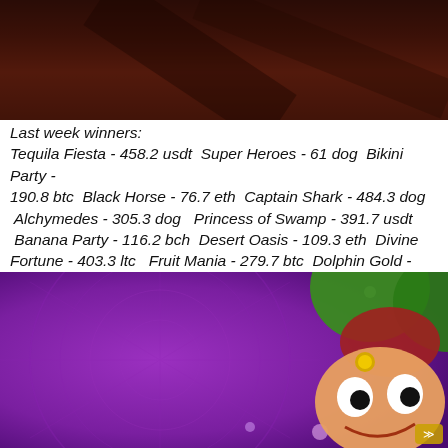[Figure (photo): Dark reddish-brown background image, top portion of page]
Last week winners:
Tequila Fiesta - 458.2 usdt  Super Heroes - 61 dog  Bikini Party - 190.8 btc  Black Horse - 76.7 eth  Captain Shark - 484.3 dog  Alchymedes - 305.3 dog  Princess of Swamp - 391.7 usdt  Banana Party - 116.2 bch  Desert Oasis - 109.3 eth  Divine Fortune - 403.3 ltc  Fruit Mania - 279.7 btc  Dolphin Gold - 453.5 bch  La Taberna - 392.8 btc  Charming Queens - 607 dog  Sweet Treats - 32.8 eth
[Figure (illustration): Purple background casino slot game image with a cartoon jester/joker character wearing a colorful hat with bells]